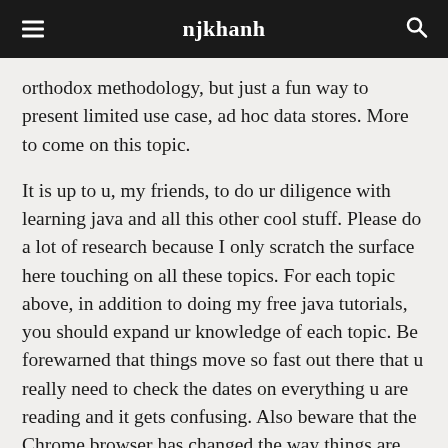njkhanh
orthodox methodology, but just a fun way to present limited use case, ad hoc data stores. More to come on this topic.
It is up to u, my friends, to do ur diligence with learning java and all this other cool stuff. Please do a lot of research because I only scratch the surface here touching on all these topics. For each topic above, in addition to doing my free java tutorials, you should expand ur knowledge of each topic. Be forewarned that things move so fast out there that u really need to check the dates on everything u are reading and it gets confusing. Also beware that the Chrome browser has changed the way things are allowed just in the past 4 years (2018–2021). Things that worked in